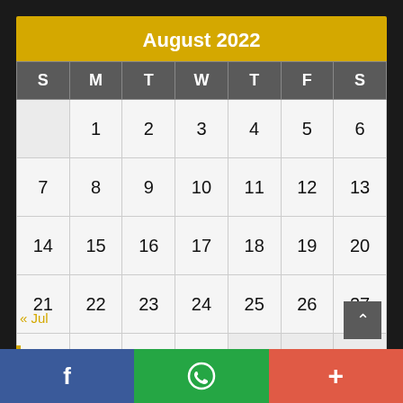August 2022
| S | M | T | W | T | F | S |
| --- | --- | --- | --- | --- | --- | --- |
|  | 1 | 2 | 3 | 4 | 5 | 6 |
| 7 | 8 | 9 | 10 | 11 | 12 | 13 |
| 14 | 15 | 16 | 17 | 18 | 19 | 20 |
| 21 | 22 | 23 | 24 | 25 | 26 | 27 |
| 28 | 29 | 30 | 31 |  |  |  |
« Jul
Watch Live News
f  (WhatsApp icon)  +